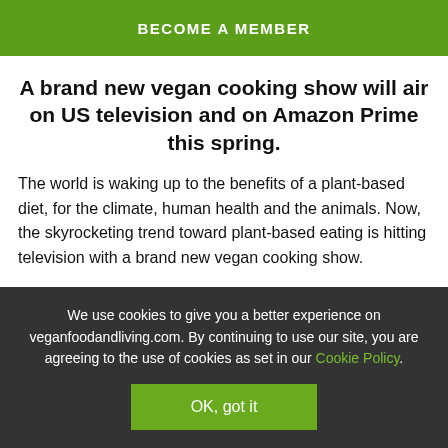BECOME A MEMBER
A brand new vegan cooking show will air on US television and on Amazon Prime this spring.
The world is waking up to the benefits of a plant-based diet, for the climate, human health and the animals. Now, the skyrocketing trend toward plant-based eating is hitting television with a brand new vegan cooking show.
Now Day New Chef is hosted by New York Times
We use cookies to give you a better experience on veganfoodandliving.com. By continuing to use our site, you are agreeing to the use of cookies as set in our Cookie Policy.
OK, got it